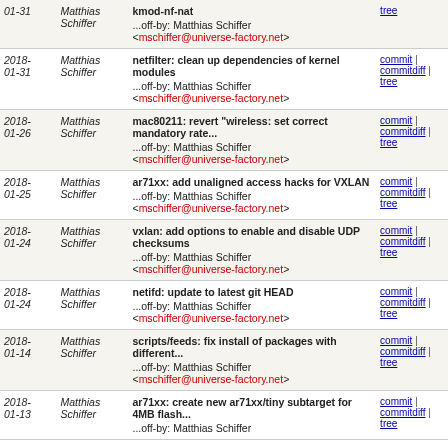| Date | Author | Commit message | Links |
| --- | --- | --- | --- |
| 01-31 | Matthias Schiffer | kmod-nf-nat
...off-by: Matthias Schiffer <mschiffer@universe-factory.net> | tree |
| 2018-01-31 | Matthias Schiffer | netfilter: clean up dependencies of kernel modules
...off-by: Matthias Schiffer <mschiffer@universe-factory.net> | commit | commitdiff | tree |
| 2018-01-26 | Matthias Schiffer | mac80211: revert "wireless: set correct mandatory rate...
...off-by: Matthias Schiffer <mschiffer@universe-factory.net> | commit | commitdiff | tree |
| 2018-01-25 | Matthias Schiffer | ar71xx: add unaligned access hacks for VXLAN
...off-by: Matthias Schiffer <mschiffer@universe-factory.net> | commit | commitdiff | tree |
| 2018-01-24 | Matthias Schiffer | vxlan: add options to enable and disable UDP checksums
...off-by: Matthias Schiffer <mschiffer@universe-factory.net> | commit | commitdiff | tree |
| 2018-01-24 | Matthias Schiffer | netifd: update to latest git HEAD
...off-by: Matthias Schiffer <mschiffer@universe-factory.net> | commit | commitdiff | tree |
| 2018-01-14 | Matthias Schiffer | scripts/feeds: fix install of packages with different...
...off-by: Matthias Schiffer <mschiffer@universe-factory.net> | commit | commitdiff | tree |
| 2018-01-13 | Matthias Schiffer | ar71xx: create new ar71xx/tiny subtarget for 4MB flash...
...off-by: Matthias Schiffer | commit | commitdiff | tree |